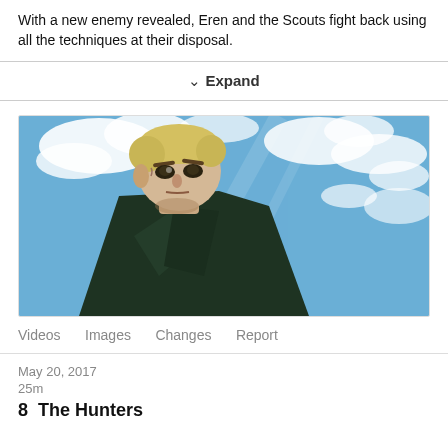With a new enemy revealed, Eren and the Scouts fight back using all the techniques at their disposal.
∨ Expand
[Figure (illustration): Anime screenshot of a stern-faced blonde male character in a dark green cloak, viewed from a low angle against a bright blue sky with white clouds. Character appears to be from Attack on Titan.]
Videos   Images   Changes   Report
May 20, 2017
25m
8  The Hunters